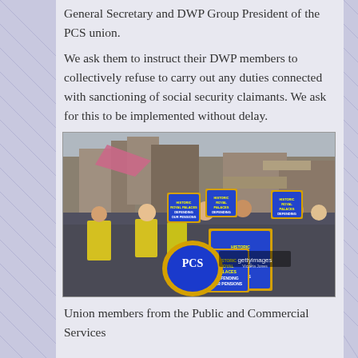General Secretary and DWP Group President of the PCS union.
We ask them to instruct their DWP members to collectively refuse to carry out any duties connected with sanctioning of social security claimants. We ask for this to be implemented without delay.
[Figure (photo): Protest photograph showing union members holding blue and yellow PCS signs reading 'Historic Royal Palaces Defending Our Pensions'. Workers in high-visibility vests and winter clothing stand in front of a historic stone building. A large yellow PCS flag/shield is prominent. Getty Images watermark visible.]
Union members from the Public and Commercial Services